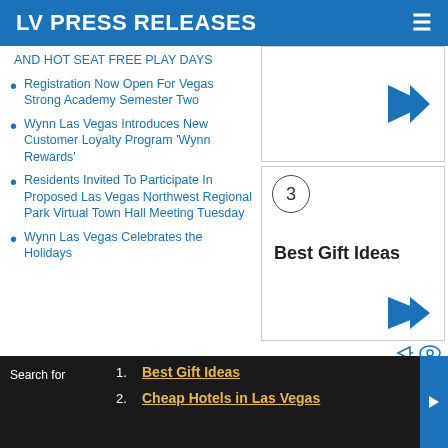LV PRESS RELEASES
AND HOT SEAT FREE PLAY DAYS
Registration Now Open For Vegas Strong Academy Semester Two
Wynn Las Vegas Introduces New Customer Loyalty Program 'Wynn Rewards'
Residents Invited To Participate In Proposed Las Vegas Northwest Regional Park Virtual Town Hall Meeting Tuesday
Wynn Las Vegas Celebrates the Holidays
[Figure (screenshot): Advertisement box with blue play arrow button]
[Figure (screenshot): Advertisement card numbered 3 with text 'Best Gift Ideas' and blue play arrow at bottom]
External Articles
1. Best Gift Ideas
2. Cheap Hotels in Las Vegas